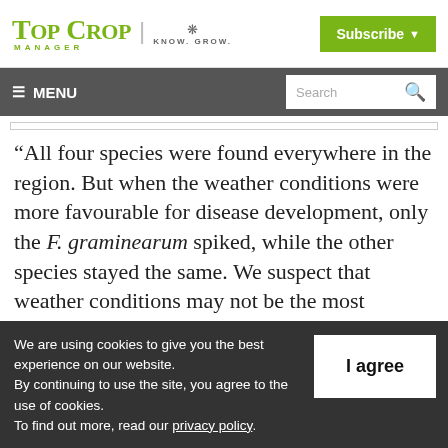Top Crop Manager | Know. Grow.
≡ MENU  Search
“All four species were found everywhere in the region. But when the weather conditions were more favourable for disease development, only the F. graminearum spiked, while the other species stayed the same. We suspect that weather conditions may not be the most
We are using cookies to give you the best experience on our website. By continuing to use the site, you agree to the use of cookies. To find out more, read our privacy policy.
I agree